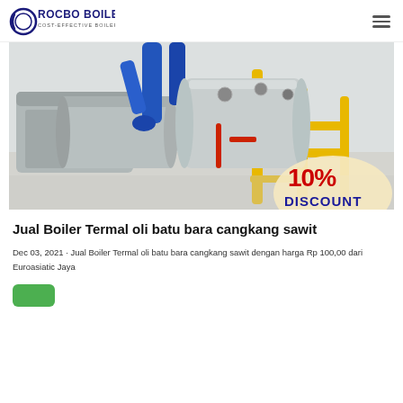ROCBO BOILER — COST-EFFECTIVE BOILER SUPPLIER
[Figure (photo): Industrial boiler room with blue and yellow pipes, large cylindrical boiler tanks, and a 10% DISCOUNT badge in the bottom right corner.]
Jual Boiler Termal oli batu bara cangkang sawit
Dec 03, 2021 · Jual Boiler Termal oli batu bara cangkang sawit dengan harga Rp 100,00 dari Euroasiatic Jaya